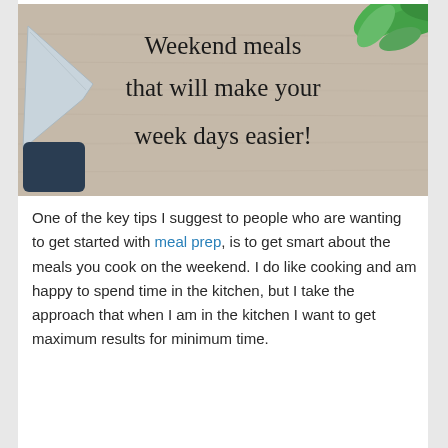[Figure (photo): A wooden cutting board background with a dark blue knife on the left side, green plant leaves in the top right corner, and the text 'Weekend meals that will make your week days easier!' overlaid in large serif font.]
One of the key tips I suggest to people who are wanting to get started with meal prep, is to get smart about the meals you cook on the weekend. I do like cooking and am happy to spend time in the kitchen, but I take the approach that when I am in the kitchen I want to get maximum results for minimum time.